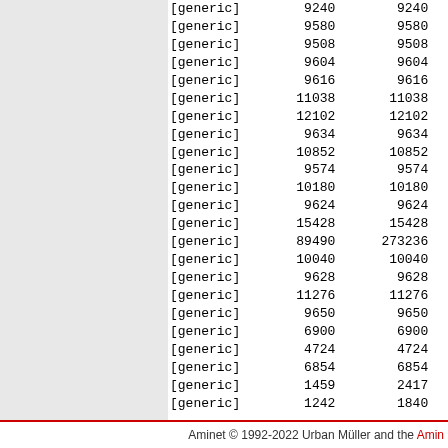| type | compressed | uncompressed | pct |
| --- | --- | --- | --- |
| [generic] | 9240 | 9240 | 100.0% |
| [generic] | 9580 | 9580 | 100.0% |
| [generic] | 9508 | 9508 | 100.0% |
| [generic] | 9604 | 9604 | 100.0% |
| [generic] | 9616 | 9616 | 100.0% |
| [generic] | 11038 | 11038 | 100.0% |
| [generic] | 12102 | 12102 | 100.0% |
| [generic] | 9634 | 9634 | 100.0% |
| [generic] | 10852 | 10852 | 100.0% |
| [generic] | 9574 | 9574 | 100.0% |
| [generic] | 10180 | 10180 | 100.0% |
| [generic] | 9624 | 9624 | 100.0% |
| [generic] | 15428 | 15428 | 100.0% |
| [generic] | 89490 | 273236 | 32.8% |
| [generic] | 10040 | 10040 | 100.0% |
| [generic] | 9628 | 9628 | 100.0% |
| [generic] | 11276 | 11276 | 100.0% |
| [generic] | 9650 | 9650 | 100.0% |
| [generic] | 6900 | 6900 | 100.0% |
| [generic] | 4724 | 4724 | 100.0% |
| [generic] | 6854 | 6854 | 100.0% |
| [generic] | 1459 | 2417 | 60.4% |
| [generic] | 1242 | 1840 | 67.5% |
| [generic] | 1887 | 3977 | 47.4% |
| [generic] | 1284 | 1807 | 71.1% |
| ---------- | ---------- | ------- | ------ | ------ |
| Total | 333 files | 2070155 | 3250268 | 63.7% |
Aminet © 1992-2022 Urban Müller and the Aminet